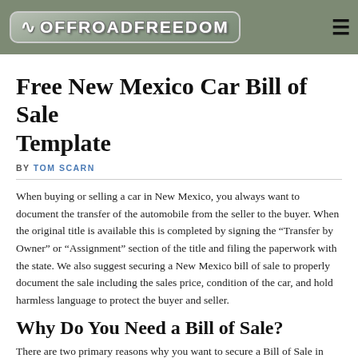OFFROADFREEDOM
Free New Mexico Car Bill of Sale Template
BY TOM SCARN
When buying or selling a car in New Mexico, you always want to document the transfer of the automobile from the seller to the buyer. When the original title is available this is completed by signing the “Transfer by Owner” or “Assignment” section of the title and filing the paperwork with the state. We also suggest securing a New Mexico bill of sale to properly document the sale including the sales price, condition of the car, and hold harmless language to protect the buyer and seller.
Why Do You Need a Bill of Sale?
There are two primary reasons why you want to secure a Bill of Sale in